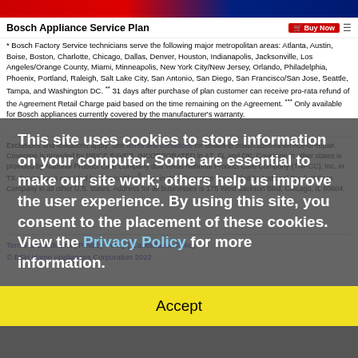Bosch Appliance Service Plan
* Bosch Factory Service technicians serve the following major metropolitan areas: Atlanta, Austin, Boise, Boston, Charlotte, Chicago, Dallas, Denver, Houston, Indianapolis, Jacksonville, Los Angeles/Orange County, Miami, Minneapolis, New York City/New Jersey, Orlando, Philadelphia, Phoenix, Portland, Raleigh, Salt Lake City, San Antonio, San Diego, San Francisco/San Jose, Seattle, Tampa, and Washington DC. ** 31 days after purchase of plan customer can receive pro-rata refund of the Agreement Retail Charge paid based on the time remaining on the Agreement. *** Only available for Bosch appliances currently covered by the manufacturer's warranty.
Exclusions and limitations apply. See terms and conditions for details at bosch.com/us/service-or-repair. Coverage is provided by PRICE SAVER, INCORPORATED in AZ, FL and OK. Coverage in other states is provided by National Product Care Company dba Texas National Product Care Company (TNPCC), Inc. in TX. Coverage is provided by ServicePlan , Inc. in WA. Coverage is provided by National Product Care Company in all other U.S. states. Address for all businesses is 175 West Jackson Blvd, Chicago, IL 60604.
This site uses cookies to store information on your computer. Some are essential to make our site work; others help us improve the user experience. By using this site, you consent to the placement of these cookies. View the Privacy Policy for more information.
Accept
Terms & Conditions | Privacy Policy | Cancellation Policy
© BSH Home Appliances Corporation 2022